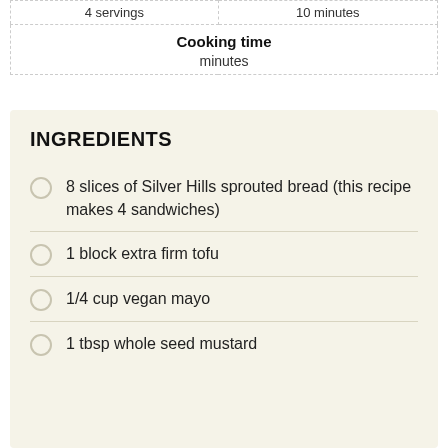| 4 servings | 10 minutes |
| --- | --- |
| Cooking time |  |
| minutes |  |
INGREDIENTS
8 slices of Silver Hills sprouted bread (this recipe makes 4 sandwiches)
1 block extra firm tofu
1/4 cup vegan mayo
1 tbsp whole seed mustard